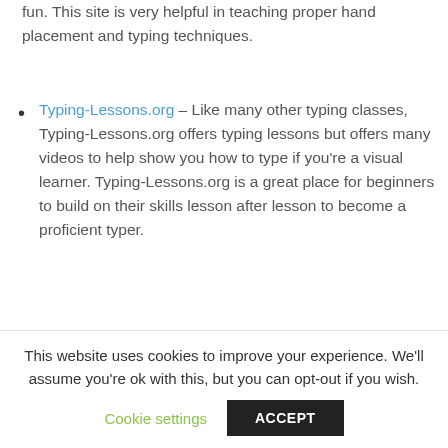fun. This site is very helpful in teaching proper hand placement and typing techniques.
Typing-Lessons.org – Like many other typing classes, Typing-Lessons.org offers typing lessons but offers many videos to help show you how to type if you're a visual learner. Typing-Lessons.org is a great place for beginners to build on their skills lesson after lesson to become a proficient typer.
Thetypingat.com – This site offers many free beginner classes, as well as paid classes for
This website uses cookies to improve your experience. We'll assume you're ok with this, but you can opt-out if you wish.
Cookie settings   ACCEPT